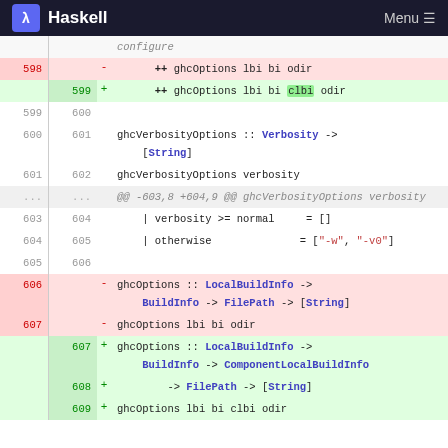Haskell  Menu
configure
598  -   ++ ghcOptions lbi bi odir
     599 +   ++ ghcOptions lbi bi clbi odir
599  600
600  601  ghcVerbosityOptions :: Verbosity -> [String]
601  602  ghcVerbosityOptions verbosity
...  ...  @@ -603,8 +604,9 @@ ghcVerbosityOptions verbosity
603  604      | verbosity >= normal     = []
604  605      | otherwise              = ["-w", "-v0"]
605  606
606       -  ghcOptions :: LocalBuildInfo -> BuildInfo -> FilePath -> [String]
607       -  ghcOptions lbi bi odir
         607 + ghcOptions :: LocalBuildInfo -> BuildInfo -> ComponentLocalBuildInfo
         608 +         -> FilePath -> [String]
         609 + ghcOptions lbi bi clbi odir